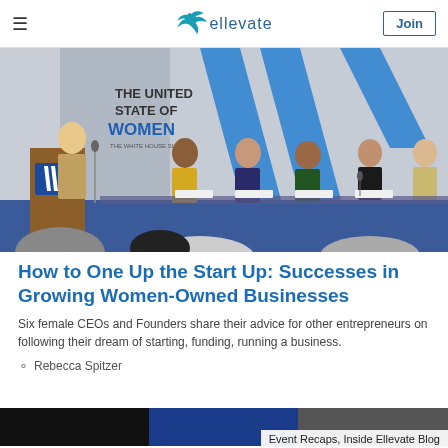≡  ellevate  Join
[Figure (photo): Panel of six women seated at a conference table on stage at 'The United State of Women - The White House Summit'. A woman speaks at a podium on the left. Blue and white banner with stylized W logo in background. Audience visible in foreground.]
How to One Up the Start Up: Successes in Growing Women-Owned Businesses
Six female CEOs and Founders share their advice for other entrepreneurs on following their dream of starting, funding, running a business.
Rebecca Spitzer
Event Recaps, Inside Ellevate Blog